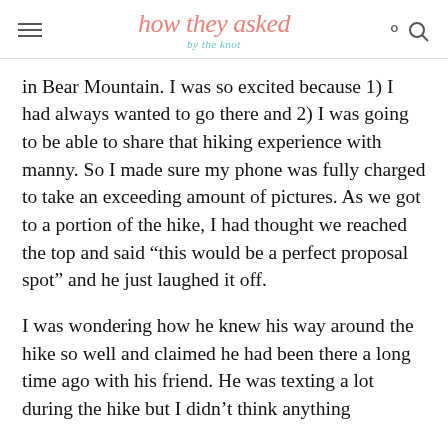how they asked by the knot
in Bear Mountain. I was so excited because 1) I had always wanted to go there and 2) I was going to be able to share that hiking experience with manny. So I made sure my phone was fully charged to take an exceeding amount of pictures. As we got to a portion of the hike, I had thought we reached the top and said “this would be a perfect proposal spot” and he just laughed it off.
I was wondering how he knew his way around the hike so well and claimed he had been there a long time ago with his friend. He was texting a lot during the hike but I didn’t think anything